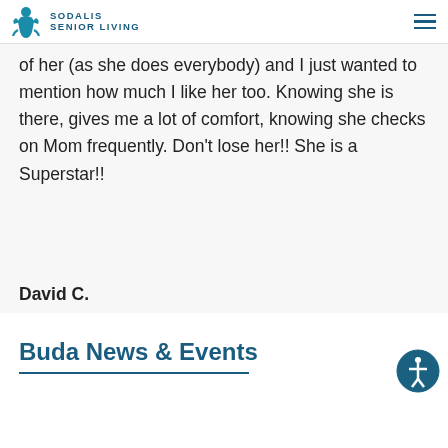SODALIS SENIOR LIVING
of her (as she does everybody) and I just wanted to mention how much I like her too. Knowing she is there, gives me a lot of comfort, knowing she checks on Mom frequently. Don't lose her!! She is a Superstar!!
David C.
Buda News & Events